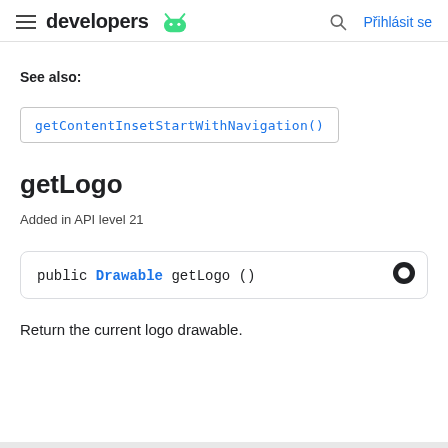developers | Přihlásit se
See also:
getContentInsetStartWithNavigation()
getLogo
Added in API level 21
public Drawable getLogo ()
Return the current logo drawable.